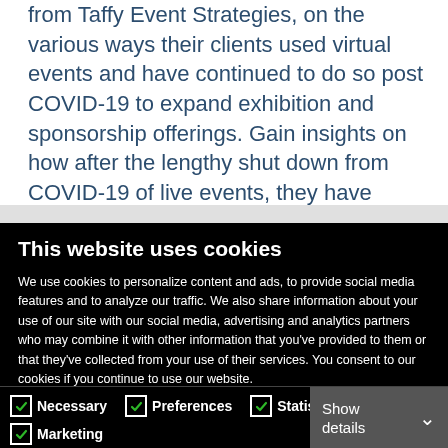from Taffy Event Strategies, on the various ways their clients used virtual events and have continued to do so post COVID-19 to expand exhibition and sponsorship offerings. Gain insights on how after the lengthy shut down from COVID-19 of live events, they have found many of their clients anxious to maximize their marketing impact and sales, and how they leveraged this to stage lucrative events.
[partially visible text line]
This website uses cookies
We use cookies to personalize content and ads, to provide social media features and to analyze our traffic. We also share information about your use of our site with our social media, advertising and analytics partners who may combine it with other information that you've provided to them or that they've collected from your use of their services. You consent to our cookies if you continue to use our website.
OK
Necessary
Preferences
Statistics
Marketing
Show details